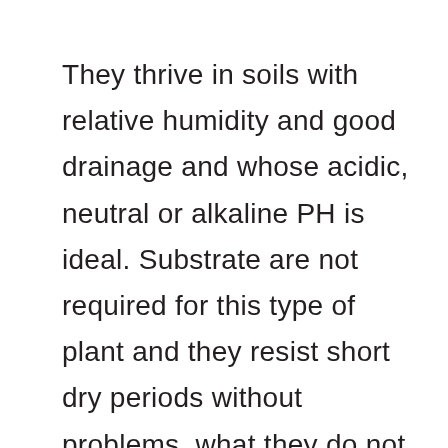They thrive in soils with relative humidity and good drainage and whose acidic, neutral or alkaline PH is ideal. Substrate are not required for this type of plant and they resist short dry periods without problems, what they do not tolerate is waterlogging.